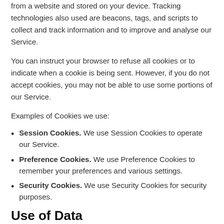from a website and stored on your device. Tracking technologies also used are beacons, tags, and scripts to collect and track information and to improve and analyse our Service.
You can instruct your browser to refuse all cookies or to indicate when a cookie is being sent. However, if you do not accept cookies, you may not be able to use some portions of our Service.
Examples of Cookies we use:
Session Cookies. We use Session Cookies to operate our Service.
Preference Cookies. We use Preference Cookies to remember your preferences and various settings.
Security Cookies. We use Security Cookies for security purposes.
Use of Data